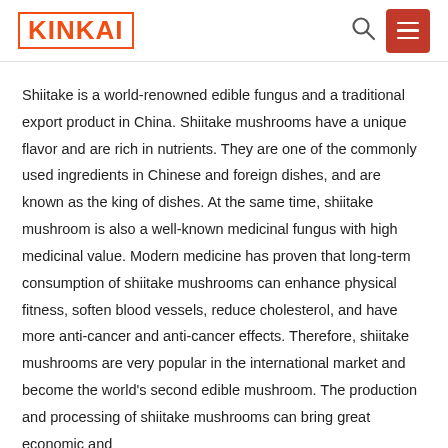KINKAI
Shiitake is a world-renowned edible fungus and a traditional export product in China. Shiitake mushrooms have a unique flavor and are rich in nutrients. They are one of the commonly used ingredients in Chinese and foreign dishes, and are known as the king of dishes. At the same time, shiitake mushroom is also a well-known medicinal fungus with high medicinal value. Modern medicine has proven that long-term consumption of shiitake mushrooms can enhance physical fitness, soften blood vessels, reduce cholesterol, and have more anti-cancer and anti-cancer effects. Therefore, shiitake mushrooms are very popular in the international market and become the world's second edible mushroom. The production and processing of shiitake mushrooms can bring great economic and